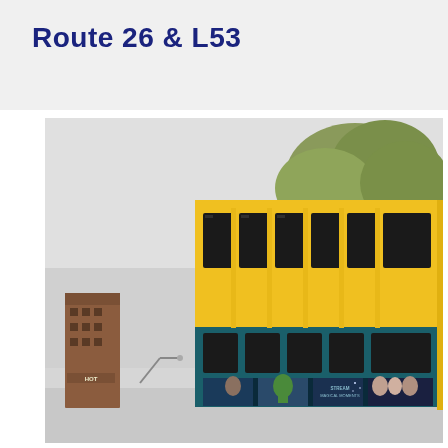Route 26 & L53
[Figure (photo): Photograph of a yellow and teal Dublin Bus double-decker bus with an advertisement reading 'STREAM MAGICAL MOMENTS' on the side, set against an overcast sky with trees visible behind the top deck. A brick building (hotel) is visible in the background on the left.]